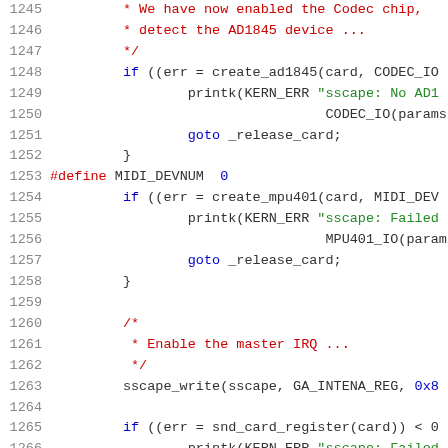Source code listing, lines 1245–1266, C kernel driver code with syntax highlighting